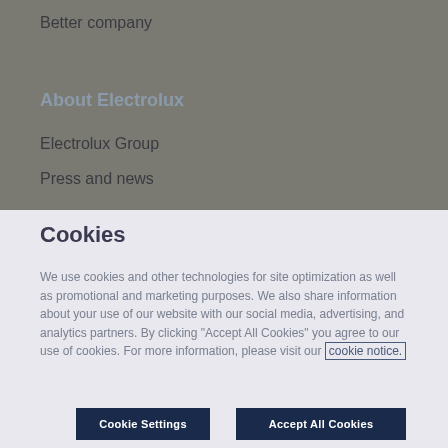Better company
About Electrolux
Electrolux Group
Press and news
Cookies
We use cookies and other technologies for site optimization as well as promotional and marketing purposes. We also share information about your use of our website with our social media, advertising, and analytics partners. By clicking “Accept All Cookies” you agree to our use of cookies. For more information, please visit our cookie notice.
Cookie Settings
Accept All Cookies